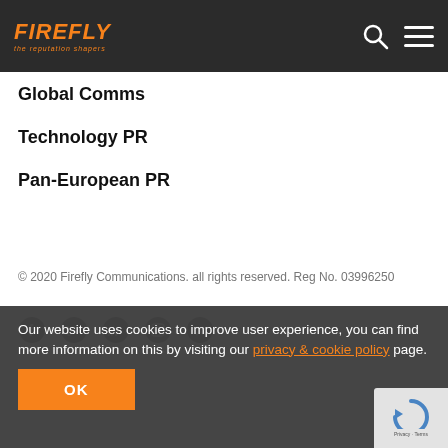FIREFLY — the reputation shapers
Global Comms
Technology PR
Pan-European PR
© 2020 Firefly Communications. all rights reserved. Reg No. 03996250
Our website uses cookies to improve user experience, you can find more information on this by visiting our privacy & cookie policy page.